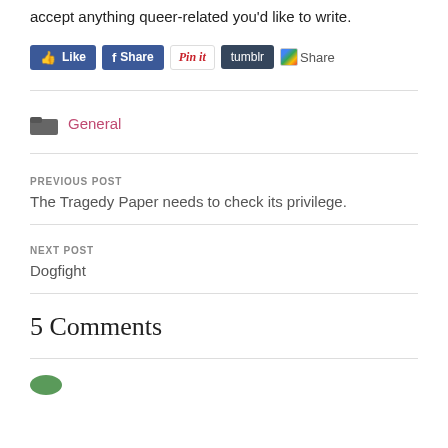accept anything queer-related you'd like to write.
[Figure (other): Social sharing buttons: Like (Facebook), Share (Facebook), Pin it (Pinterest), tumblr, Share (Google+)]
General
PREVIOUS POST
The Tragedy Paper needs to check its privilege.
NEXT POST
Dogfight
5 Comments